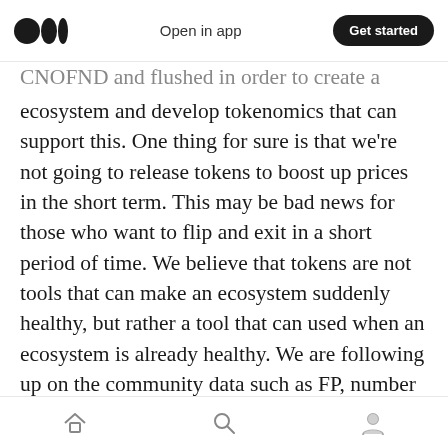Medium — Open in app | Get started
CNOFND and flushed in order to create a healthy ecosystem and develop tokenomics that can support this. One thing for sure is that we're not going to release tokens to boost up prices in the short term. This may be bad news for those who want to flip and exit in a short period of time. We believe that tokens are not tools that can make an ecosystem suddenly healthy, but rather a tool that can used when an ecosystem is already healthy. We are following up on the community data such as FP, number of holders, transaction volume, social media followers, active discord users, social media mentions, and other business
Home | Search | Profile